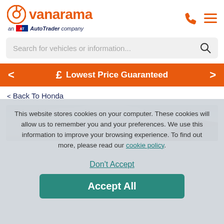[Figure (logo): Vanarama logo with orange circle icon and text, 'an AutoTrader company' subtitle]
Search for vehicles or information...
£  Lowest Price Guaranteed
< Back To Honda
[Figure (photo): Partial view of a car against a cloudy rocky landscape background]
This website stores cookies on your computer. These cookies will allow us to remember you and your preferences.  We use this information to improve your browsing experience.  To find out more, please read our cookie policy.
Don't Accept
Accept All